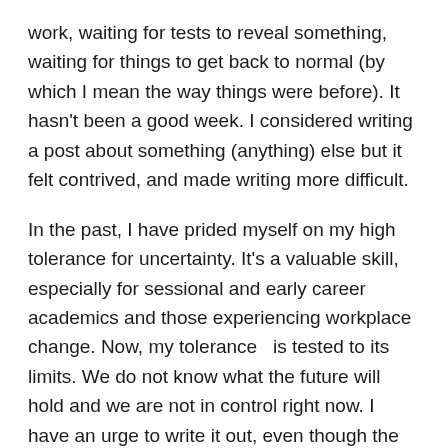work, waiting for tests to reveal something, waiting for things to get back to normal (by which I mean the way things were before). It hasn't been a good week. I considered writing a post about something (anything) else but it felt contrived, and made writing more difficult.
In the past, I have prided myself on my high tolerance for uncertainty. It's a valuable skill, especially for sessional and early career academics and those experiencing workplace change. Now, my tolerance  is tested to its limits. We do not know what the future will hold and we are not in control right now. I have an urge to write it out, even though the words are hard to find.
I have just started Helen Sword's Air & Light & Time & Space on how successful academics write. The title is the opposite of how I feel right now, but I love her suggestions